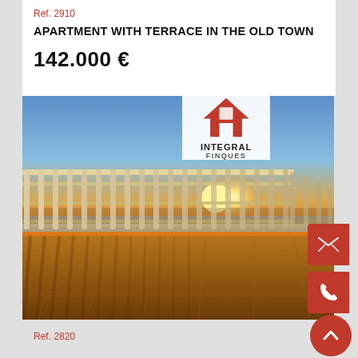Ref. 2910
APARTMENT WITH TERRACE IN THE OLD TOWN
142.000 €
[Figure (photo): Terrace apartment view with metal railing fence and sea/beach view at sunset, with Integral Finques logo overlay]
Ref. 2820